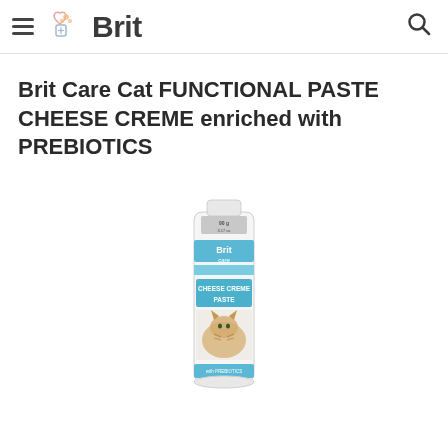Brit
Brit Care Cat FUNCTIONAL PASTE CHEESE CREME enriched with PREBIOTICS
[Figure (photo): Product photo of Brit Care Cheese Creme Paste tube with a cat on the label, white tube with blue accent band]